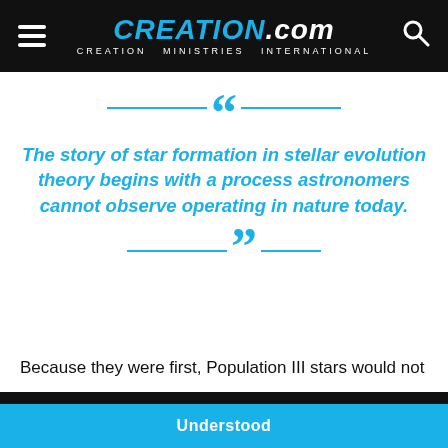CREATION.com — CREATION MINISTRIES INTERNATIONAL
The story of star formation in stellar evolution theory begins with a process astronomers cannot observe operating in nature today.
Because they were first, Population III stars would not ... ionists ... ch are
We use cookies to improve your experience on creation.com and related sites. Privacy Policy
Understood
stars